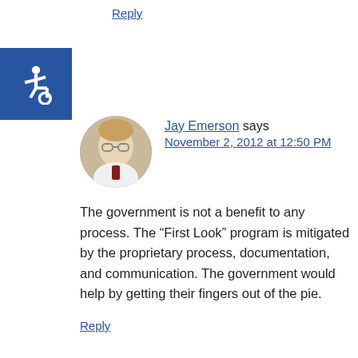how to benefit owner occupants.
Reply
[Figure (photo): Blue accessibility icon with wheelchair symbol on the left side of the page]
[Figure (photo): Profile photo of Jay Emerson, a man with glasses wearing a light jacket]
Jay Emerson says
November 2, 2012 at 12:50 PM
The government is not a benefit to any process. The “First Look” program is mitigated by the proprietary process, documentation, and communication. The government would help by getting their fingers out of the pie.
Reply